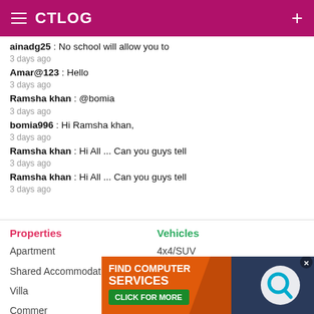CTLOG
ainadg25 : No school will allow you to
3 days ago
Amar@123 : Hello
3 days ago
Ramsha khan : @bomia
3 days ago
bomia996 : Hi Ramsha khan,
3 days ago
Ramsha khan : Hi All ... Can you guys tell
3 days ago
Ramsha khan : Hi All ... Can you guys tell
3 days ago
Properties
Apartment
Shared Accommodation
Villa
Commer
Vehicles
4x4/SUV
Car/Sedan
Car Rental
[Figure (screenshot): Orange and dark advertisement banner: FIND COMPUTER SERVICES CLICK FOR MORE with logo and close button]